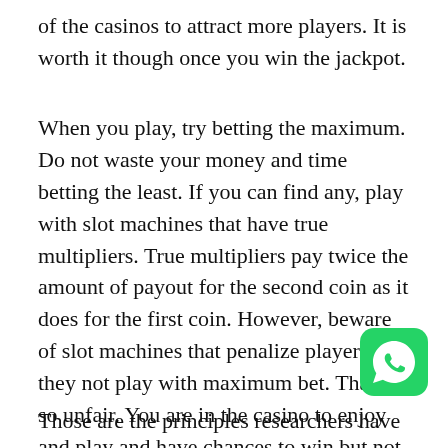of the casinos to attract more players. It is worth it though once you win the jackpot.
When you play, try betting the maximum. Do not waste your money and time betting the least. If you can find any, play with slot machines that have true multipliers. True multipliers pay twice the amount of payout for the second coin as it does for the first coin. However, beware of slot machines that penalize players had they not play with maximum bet. That is so unfair. You are in the casino to enjoy and play and have chances to win but not to be penalized.
[Figure (logo): WhatsApp logo — green rounded square with white phone handset icon]
Those are the principles researchers have